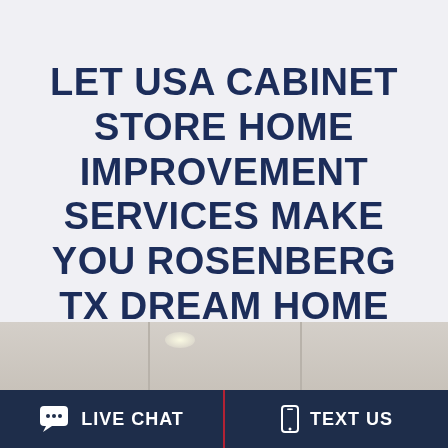LET USA CABINET STORE HOME IMPROVEMENT SERVICES MAKE YOU ROSENBERG TX DREAM HOME REALITY
[Figure (photo): Bottom portion of a room interior showing cabinets or wall panels with vertical dividers, light-colored neutral tones]
LIVE CHAT
TEXT US